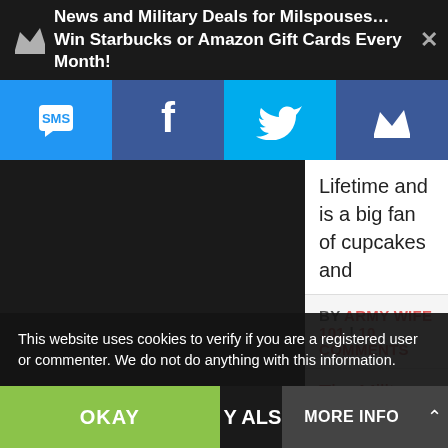News and Military Deals for Milspouses…Win Starbucks or Amazon Gift Cards Every Month!
[Figure (screenshot): Social sharing bar with SMS, Facebook, Twitter, and crown/newsletter icons on colored backgrounds (blue, dark blue, cyan, dark blue)]
Lifetime and is a big fan of cupcakes and
BY ARMY WIFE 101 | 10 COMMENTS
The Military Commissary And Earn Cash
age Military Discounts You Should Know
This website uses cookies to verify if you are a registered user or commenter. We do not do anything with this information.
OKAY
Y ALSO L
MORE INFO